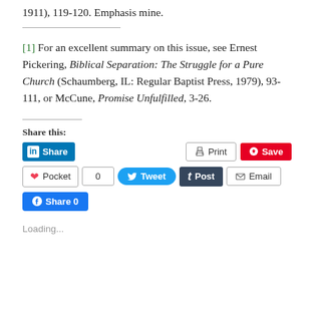1911), 119-120. Emphasis mine.
[1] For an excellent summary on this issue, see Ernest Pickering, Biblical Separation: The Struggle for a Pure Church (Schaumberg, IL: Regular Baptist Press, 1979), 93-111, or McCune, Promise Unfulfilled, 3-26.
Share this:
[Figure (screenshot): Social sharing buttons: LinkedIn Share, Print, Pinterest Save, Pocket, Tweet, Post, Email, Facebook Share 0]
Loading...